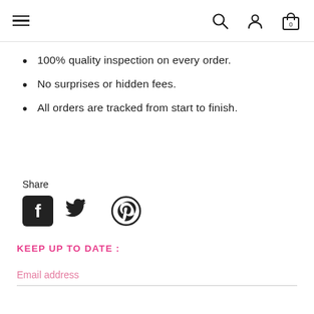Navigation header with menu, search, account and cart icons
100% quality inspection on every order.
No surprises or hidden fees.
All orders are tracked from start to finish.
Share
[Figure (illustration): Social media share icons: Facebook, Twitter, Pinterest]
KEEP UP TO DATE :
Email address